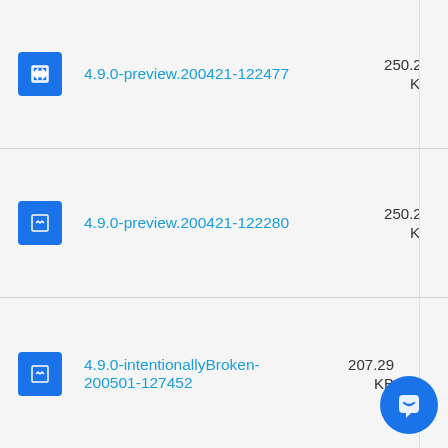4.9.0-preview.200421-122477 250.28 KB
4.9.0-preview.200421-122280 250.28 KB
4.9.0-intentionallyBroken-200501-127452 207.29 KB